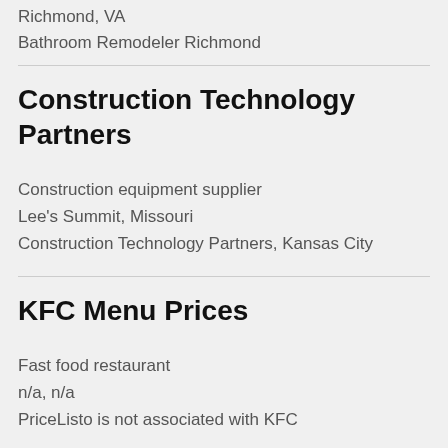Richmond, VA
Bathroom Remodeler Richmond
Construction Technology Partners
Construction equipment supplier
Lee's Summit, Missouri
Construction Technology Partners, Kansas City
KFC Menu Prices
Fast food restaurant
n/a, n/a
PriceListo is not associated with KFC